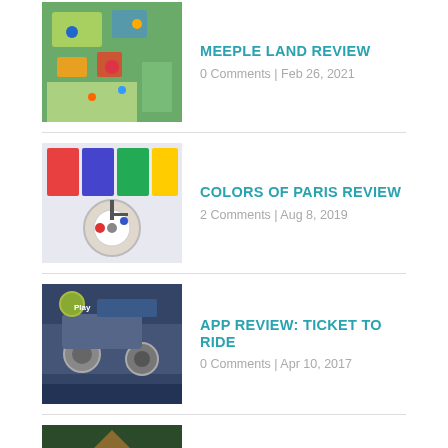[Figure (photo): Thumbnail image of Meeple Land board game]
MEEPLE LAND REVIEW
0 Comments | Feb 26, 2021
[Figure (photo): Thumbnail image of Colors of Paris board game]
COLORS OF PARIS REVIEW
2 Comments | Aug 8, 2019
[Figure (photo): Thumbnail image of Ticket to Ride app with Play button]
APP REVIEW: TICKET TO RIDE
0 Comments | Apr 10, 2017
[Figure (photo): Thumbnail image of Lost Ruins of Arnak board game]
LOST RUINS OF ARNAK REVIEW
0 Comments | Jul 26, 2021
ABOUT THE AUTHOR
[Figure (photo): Photo of Ryan Gutowski]
Ryan Gutowski
I'm a huge fan of strategy games and